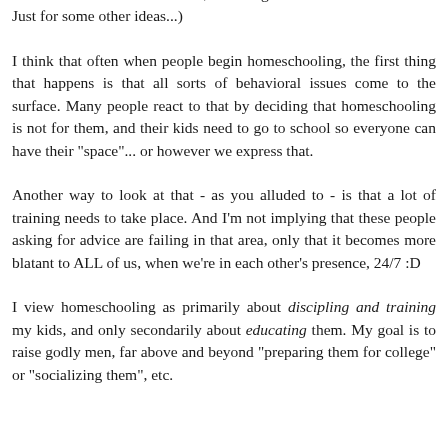dinner. My parents occasionally took them for a 'PTO' day - personal time off, in the business world, and a sanity break for me! And I traded with other moms, watching each other's kids at times. Just for some other ideas...)
I think that often when people begin homeschooling, the first thing that happens is that all sorts of behavioral issues come to the surface. Many people react to that by deciding that homeschooling is not for them, and their kids need to go to school so everyone can have their "space"... or however we express that.
Another way to look at that - as you alluded to - is that a lot of training needs to take place. And I'm not implying that these people asking for advice are failing in that area, only that it becomes more blatant to ALL of us, when we're in each other's presence, 24/7 :D
I view homeschooling as primarily about discipling and training my kids, and only secondarily about educating them. My goal is to raise godly men, far above and beyond "preparing them for college" or "socializing them", etc.